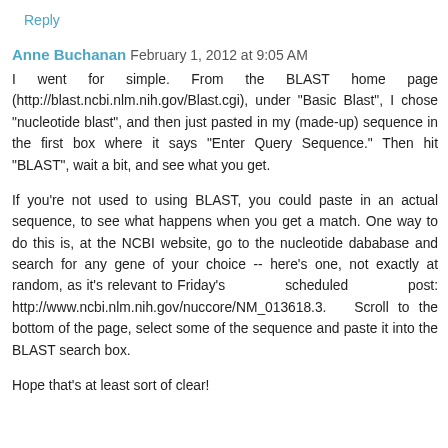Reply
Anne Buchanan  February 1, 2012 at 9:05 AM
I went for simple. From the BLAST home page (http://blast.ncbi.nlm.nih.gov/Blast.cgi), under "Basic Blast", I chose "nucleotide blast", and then just pasted in my (made-up) sequence in the first box where it says "Enter Query Sequence." Then hit "BLAST", wait a bit, and see what you get.
If you're not used to using BLAST, you could paste in an actual sequence, to see what happens when you get a match. One way to do this is, at the NCBI website, go to the nucleotide dababase and search for any gene of your choice -- here's one, not exactly at random, as it's relevant to Friday's scheduled post: http://www.ncbi.nlm.nih.gov/nuccore/NM_013618.3.   Scroll to the bottom of the page, select some of the sequence and paste it into the BLAST search box.
Hope that's at least sort of clear!